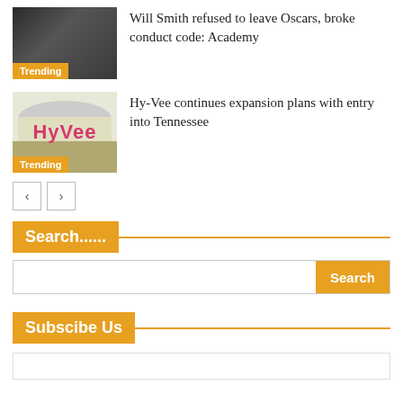[Figure (photo): Photo of people at Oscars event, dark background]
Trending
Will Smith refused to leave Oscars, broke conduct code: Academy
[Figure (photo): Hy-Vee store sign with pink/magenta lettering on beige background]
Trending
Hy-Vee continues expansion plans with entry into Tennessee
Search......
Subscibe Us